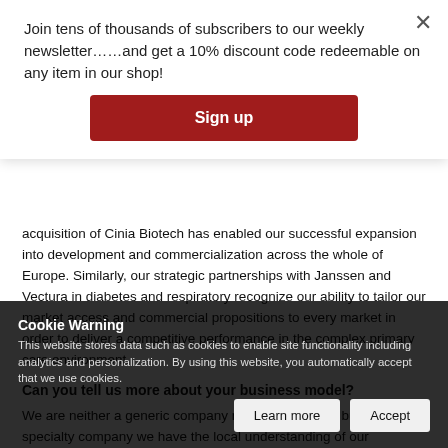Join tens of thousands of subscribers to our weekly newsletter……and get a 10% discount code redeemable on any item in our shop!
Sign up
acquisition of Cinia Biotech has enabled our successful expansion into development and commercialization across the whole of Europe. Similarly, our strategic partnerships with Janssen and Vectura in diabetes and respiratory recognize our ability to tailor our market access and commercial propositions to every market in order to deliver a competitive performance in the complex primary care environment.
Can you tell us more about your business model?
We are neither a generic company nor a big pharma; but as a specialty company we have the local understanding of our customers'
Cookie Warning
This website stores data such as cookies to enable site functionality including analytics and personalization. By using this website, you automatically accept that we use cookies.
Learn more
Accept